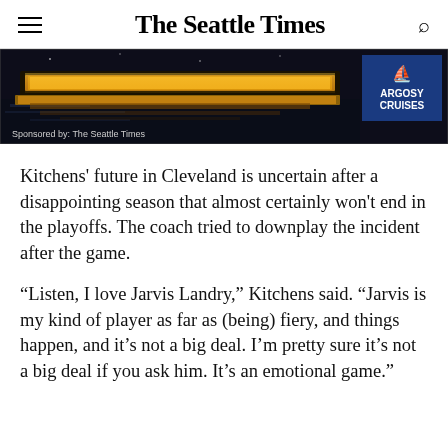The Seattle Times
[Figure (photo): Advertisement banner for Argosy Cruises, sponsored by The Seattle Times. Dark nighttime photo of illuminated boat/cruise vessel on water. Logo shows ship icon with 'ARGOSY CRUISES' text on blue background. Caption reads 'Sponsored by: The Seattle Times'.]
Kitchens' future in Cleveland is uncertain after a disappointing season that almost certainly won't end in the playoffs. The coach tried to downplay the incident after the game.
“Listen, I love Jarvis Landry,” Kitchens said. “Jarvis is my kind of player as far as (being) fiery, and things happen, and it’s not a big deal. I’m pretty sure it’s not a big deal if you ask him. It’s an emotional game.”